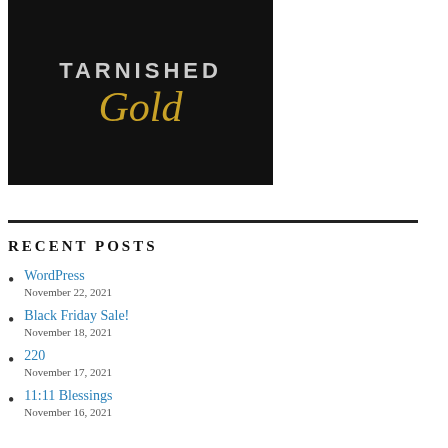[Figure (illustration): Book cover for 'Tarnished Gold' — dark/black background with geometric shapes, 'TARNISHED' in silver uppercase letters and 'Gold' in gold italic script below]
RECENT POSTS
WordPress
November 22, 2021
Black Friday Sale!
November 18, 2021
220
November 17, 2021
11:11 Blessings
November 16, 2021